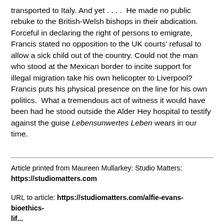transported to Italy. And yet . . . .  He made no public rebuke to the British-Welsh bishops in their abdication. Forceful in declaring the right of persons to emigrate, Francis stated no opposition to the UK courts' refusal to allow a sick child out of the country. Could not the man who stood at the Mexican border to incite support for illegal migration take his own helicopter to Liverpool? Francis puts his physical presence on the line for his own politics.  What a tremendous act of witness it would have been had he stood outside the Alder Hey hospital to testify against the guise Lebensunwertes Leben wears in our time.
Article printed from Maureen Mullarkey: Studio Matters: https://studiomatters.com
URL to article: https://studiomatters.com/alfie-evans-bioethics-life...